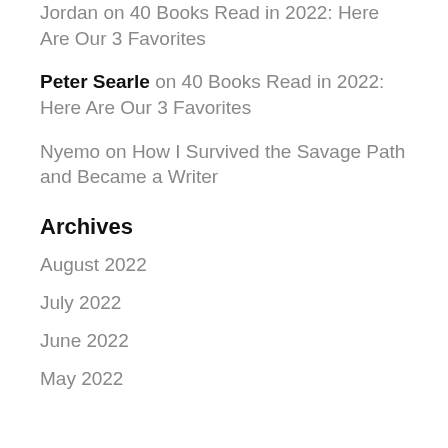Jordan on 40 Books Read in 2022: Here Are Our 3 Favorites
Peter Searle on 40 Books Read in 2022: Here Are Our 3 Favorites
Nyemo on How I Survived the Savage Path and Became a Writer
Archives
August 2022
July 2022
June 2022
May 2022